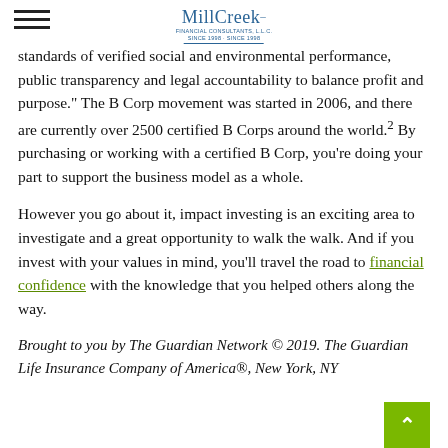MillCreek Financial Consultants
standards of verified social and environmental performance, public transparency and legal accountability to balance profit and purpose." The B Corp movement was started in 2006, and there are currently over 2500 certified B Corps around the world.² By purchasing or working with a certified B Corp, you're doing your part to support the business model as a whole.
However you go about it, impact investing is an exciting area to investigate and a great opportunity to walk the walk. And if you invest with your values in mind, you'll travel the road to financial confidence with the knowledge that you helped others along the way.
Brought to you by The Guardian Network © 2019. The Guardian Life Insurance Company of America®, New York, NY